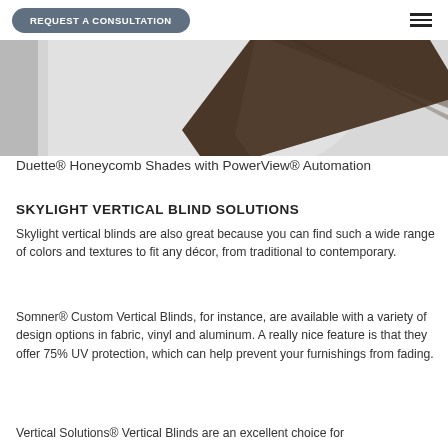REQUEST A CONSULTATION
[Figure (photo): Angled view of a dark walnut wooden beam or blind slat against a light grey background, showing the underside of a skylight or window covering installation.]
Duette® Honeycomb Shades with PowerView® Automation
SKYLIGHT VERTICAL BLIND SOLUTIONS
Skylight vertical blinds are also great because you can find such a wide range of colors and textures to fit any décor, from traditional to contemporary.
Somner® Custom Vertical Blinds, for instance, are available with a variety of design options in fabric, vinyl and aluminum. A really nice feature is that they offer 75% UV protection, which can help prevent your furnishings from fading.
Vertical Solutions® Vertical Blinds are an excellent choice for